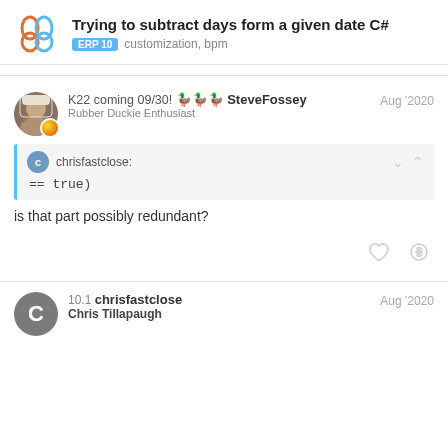Trying to subtract days form a given date C#
ERP 10  customization,  bpm
K22 coming 09/30! 🦆🦆🦆 SteveFossey Rubber Duckie Enthusiast Aug '2020
chrisfastclose:
== true)
is that part possibly redundant?
10.1 chrisfastclose Chris Tillapaugh Aug '2020